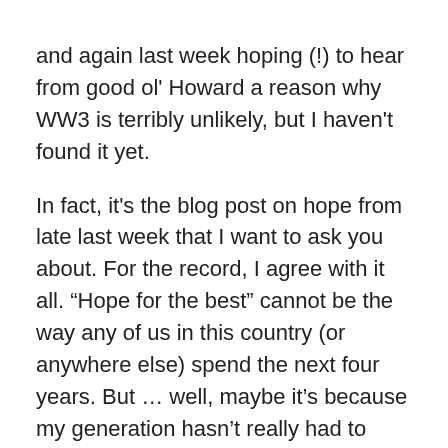and again last week hoping (!) to hear from good ol' Howard a reason why WW3 is terribly unlikely, but I haven't found it yet.
In fact, it's the blog post on hope from late last week that I want to ask you about. For the record, I agree with it all. “Hope for the best” cannot be the way any of us in this country (or anywhere else) spend the next four years. But … well, maybe it's because my generation hasn't really had to struggle for anything politically (compared to the previous two or three), but I'm at a loss about what to do now. I know what it isn’t – hope, a.k.a lie back and take it – but I have no clue what it is. The night of the election, hundreds of UCLA students spilled out into the streets at 2am to protest the election of the first racist, sexist block of cheddar cheese ever to lead our country. I sympathized with them, but it was confusing at the conversation. What th...